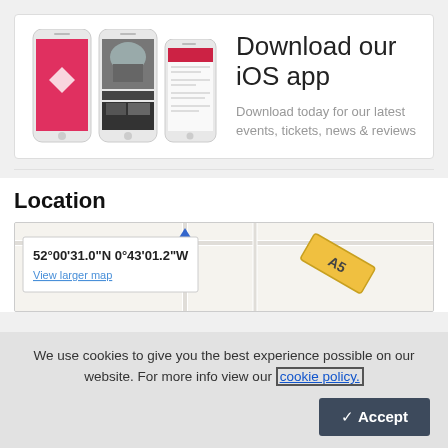[Figure (illustration): Three smartphone screenshots showing a mobile app with pink/red branding, event photos, and a list view]
Download our iOS app
Download today for our latest events, tickets, news & reviews
Location
[Figure (map): Google Maps partial view showing coordinates 52°00'31.0"N 0°43'01.2"W with a View larger map link, and a blue location pin and A5 road marker visible]
We use cookies to give you the best experience possible on our website. For more info view our cookie policy.
✓ Accept